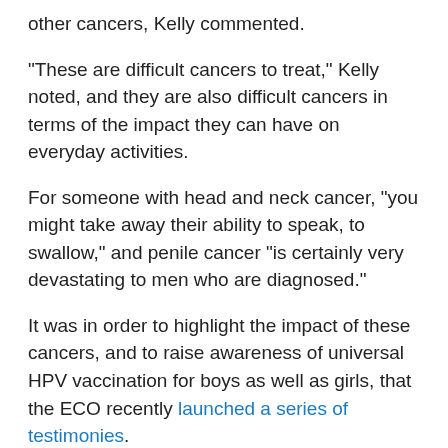other cancers, Kelly commented.
"These are difficult cancers to treat," Kelly noted, and they are also difficult cancers in terms of the impact they can have on everyday activities.
For someone with head and neck cancer, "you might take away their ability to speak, to swallow," and penile cancer "is certainly very devastating to men who are diagnosed."
It was in order to highlight the impact of these cancers, and to raise awareness of universal HPV vaccination for boys as well as girls, that the ECO recently launched a series of testimonies.
One of the cases illustrates how doctors may initially miss a diagnosis of HPV-related head and neck cancer.
For Rachel Parsons, 37 years old and a mother of five, it took half a year to get a diagnosis of oral cancer. She spent that 6 months being shuttled back and forth between her family doctor and her dentist with a growing